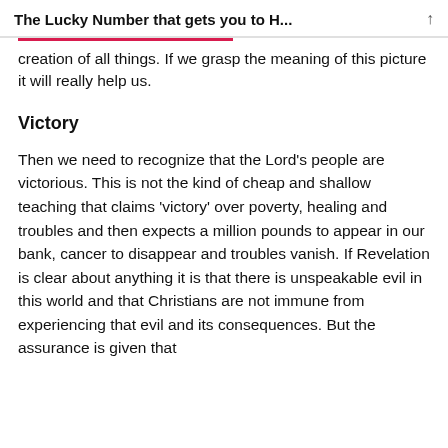The Lucky Number that gets you to H...
creation of all things. If we grasp the meaning of this picture it will really help us.
Victory
Then we need to recognize that the Lord’s people are victorious. This is not the kind of cheap and shallow teaching that claims ‘victory’ over poverty, healing and troubles and then expects a million pounds to appear in our bank, cancer to disappear and troubles vanish. If Revelation is clear about anything it is that there is unspeakable evil in this world and that Christians are not immune from experiencing that evil and its consequences. But the assurance is given that